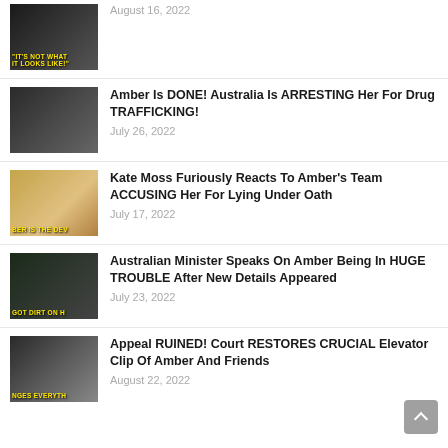August 16, 2022
Amber Is DONE! Australia Is ARRESTING Her For Drug TRAFFICKING! July 26, 2022
Kate Moss Furiously Reacts To Amber's Team ACCUSING Her For Lying Under Oath July 17, 2022
Australian Minister Speaks On Amber Being In HUGE TROUBLE After New Details Appeared July 23, 2022
Appeal RUINED! Court RESTORES CRUCIAL Elevator Clip Of Amber And Friends August 22, 2022